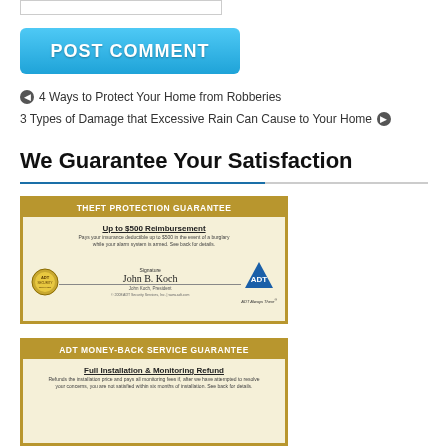[Figure (screenshot): Empty comment text input box]
[Figure (screenshot): Blue POST COMMENT button]
← 4 Ways to Protect Your Home from Robberies
3 Types of Damage that Excessive Rain Can Cause to Your Home →
We Guarantee Your Satisfaction
[Figure (illustration): ADT Theft Protection Guarantee certificate showing Up to $500 Reimbursement, pays your insurance deductible up to $500 in the event of a burglary while your alarm system is armed. Signed by John B. Koch, President. ADT Always There logo.]
[Figure (illustration): ADT Money-Back Service Guarantee certificate showing Full Installation & Monitoring Refund. Refunds the installation price and pays all monitoring fees if, after we have attempted to resolve your concerns, you are not satisfied within six months of installation. See back for details.]